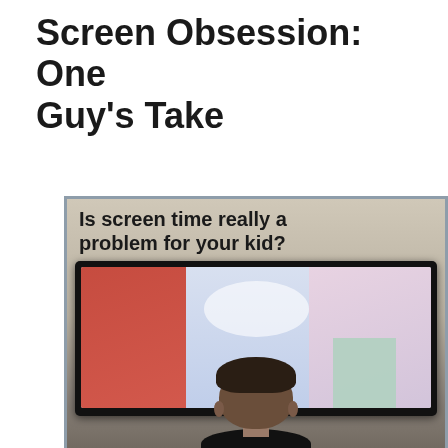Screen Obsession: One Guy's Take
[Figure (photo): A child seen from behind watching a large TV screen displaying colorful animated content. Overlaid text reads 'Is screen time really a problem for your kid?' and the URL 'DecodingTodaysYouth.com' appears at the bottom.]